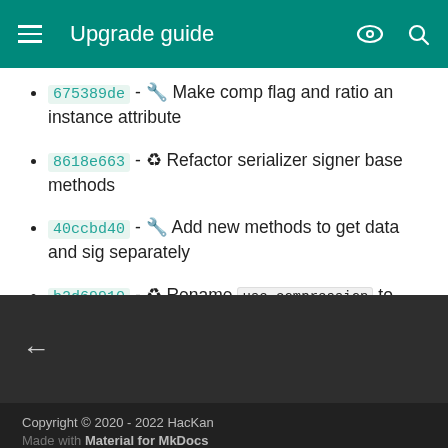Upgrade guide
675389de - 🔧 Make comp flag and ratio an instance attribute
8618e663 - ♻ Refactor serializer signer base methods
40ccbd40 - 🔧 Add new methods to get data and sig separately
b2d69910 - ♻ Rename use_compression to compress
← (back navigation)
Copyright © 2020 - 2022 HacKan
Made with Material for MkDocs